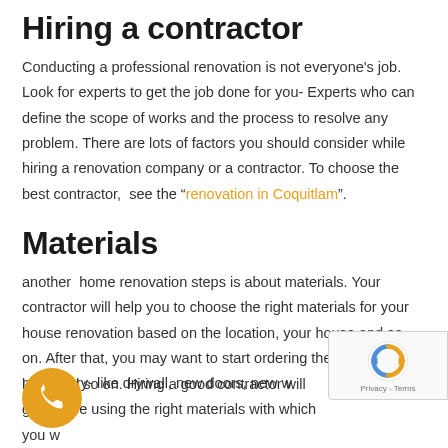Hiring a contractor
Conducting a professional renovation is not everyone's job. Look for experts to get the job done for you- Experts who can define the scope of works and the process to resolve any problem. There are lots of factors you should consider while hiring a renovation company or a contractor. To choose the best contractor,  see the “renovation in Coquitlam”.
Materials
another  home renovation steps is about materials. Your contractor will help you to choose the right materials for your house renovation based on the location, your house and so on. After that, you may want to start ordering the materials necessary- like drywall, new doors, new windows and so on. Hiring a good contractor will guarantee using the right materials with which you w... to remodel your house. SilverTouch company with